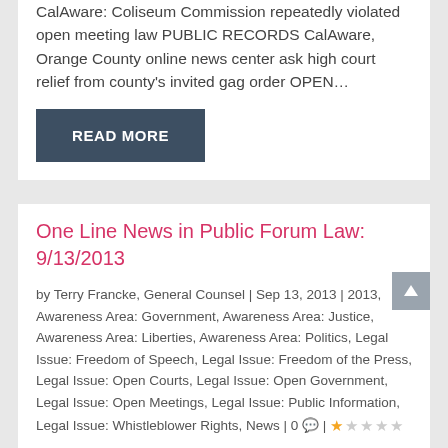CalAware: Coliseum Commission repeatedly violated open meeting law PUBLIC RECORDS CalAware, Orange County online news center ask high court relief from county's invited gag order OPEN…
READ MORE
One Line News in Public Forum Law: 9/13/2013
by Terry Francke, General Counsel | Sep 13, 2013 | 2013, Awareness Area: Government, Awareness Area: Justice, Awareness Area: Liberties, Awareness Area: Politics, Legal Issue: Freedom of Speech, Legal Issue: Freedom of the Press, Legal Issue: Open Courts, Legal Issue: Open Government, Legal Issue: Open Meetings, Legal Issue: Public Information, Legal Issue: Whistleblower Rights, News | 0 💬 | ★★★★★
OPEN GOVERNMENT CalAware's proposed Plan B to save the Brown Act and the Public Records Act to go before the voters Credit: thenews.pl 20 action…